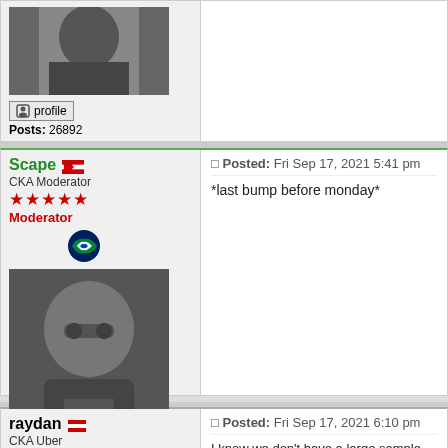[Figure (photo): Black and white avatar photo (top, cropped), profile button, Posts: 26892]
profile
Posts: 26892
Scape — CKA Moderator — Moderator — Posted: Fri Sep 17, 2021 5:41 pm
*last bump before monday*
[Figure (photo): Black and white avatar photo of person with sunglasses]
profile
Posts: 26892
raydan — CKA Uber — Posted: Fri Sep 17, 2021 6:10 pm
I know we don't have a large sample size, but we sho